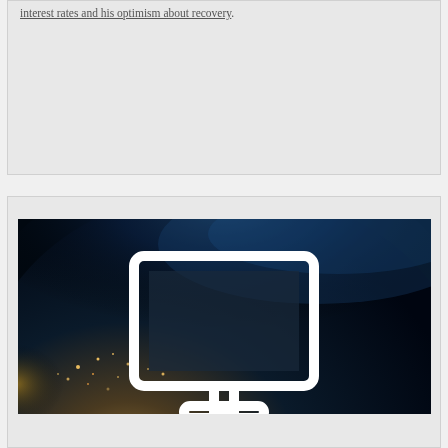interest rates and his optimism about recovery.
[Figure (photo): Dark photo of Earth from space at night showing city lights, with a white monitor/desktop computer icon overlaid in the center]